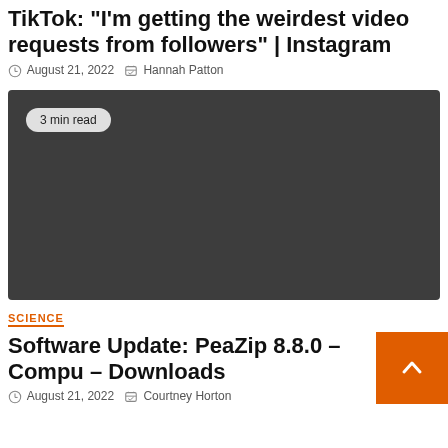TikTok: "I'm getting the weirdest video requests from followers" | Instagram
August 21, 2022   Hannah Patton
[Figure (other): Dark gray thumbnail image with a '3 min read' badge in the top left corner]
SCIENCE
Software Update: PeaZip 8.8.0 – Compu – Downloads
August 21, 2022   Courtney Horton